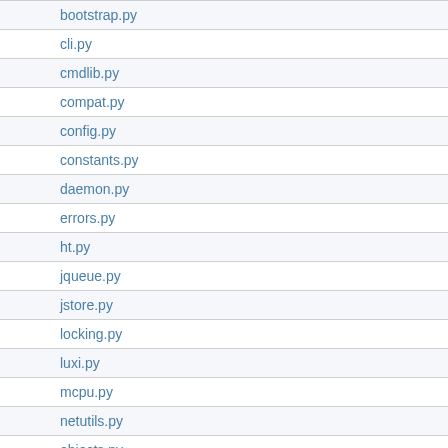| bootstrap.py |
| cli.py |
| cmdlib.py |
| compat.py |
| config.py |
| constants.py |
| daemon.py |
| errors.py |
| ht.py |
| jqueue.py |
| jstore.py |
| locking.py |
| luxi.py |
| mcpu.py |
| netutils.py |
| objects.py |
| opcodes.py |
| qlang.py |
| query.py |
| rpc.py |
| runtime.py |
| serializer.py |
| ssconf.py |